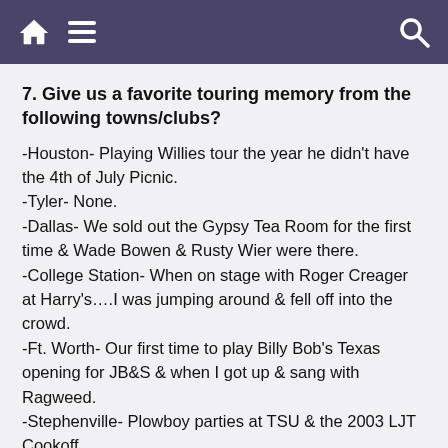[navigation bar with home, menu, and search icons]
7. Give us a favorite touring memory from the following towns/clubs?
-Houston- Playing Willies tour the year he didn't have the 4th of July Picnic.
-Tyler- None.
-Dallas- We sold out the Gypsy Tea Room for the first time & Wade Bowen & Rusty Wier were there.
-College Station- When on stage with Roger Creager at Harry's….I was jumping around & fell off into the crowd.
-Ft. Worth- Our first time to play Billy Bob's Texas opening for JB&S & when I got up & sang with Ragweed.
-Stephenville- Plowboy parties at TSU & the 2003 LJT Cookoff.